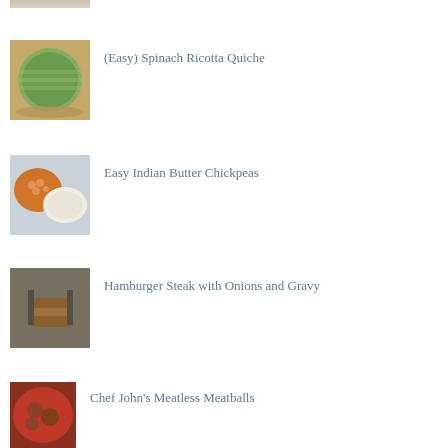[Figure (photo): Partial top of a food photo, cropped]
[Figure (photo): Spinach Ricotta Quiche in a pie dish]
(Easy) Spinach Ricotta Quiche
[Figure (photo): Indian Butter Chickpeas with rice in bowls]
Easy Indian Butter Chickpeas
[Figure (photo): Hamburger Steak with Onions and Gravy]
Hamburger Steak with Onions and Gravy
[Figure (photo): Chef John's Meatless Meatballs in tomato sauce in a pan]
Chef John's Meatless Meatballs